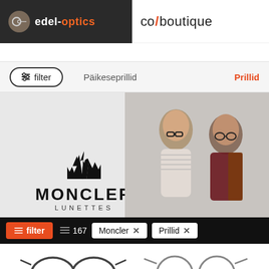[Figure (logo): edel-optics logo on dark background, left side of header]
[Figure (logo): eo boutique logo on white background, right side of header]
[Figure (infographic): Navigation bar with filter button, Päikeseprillid link, and Prillid active link in orange]
[Figure (photo): Moncler Lunettes banner with logo on left and two models wearing glasses on right]
[Figure (infographic): Active filter bar in black showing: filter button (orange), 167 count, Moncler tag with X, Prillid tag with X]
[Figure (photo): Product thumbnails showing two pairs of eyeglasses frames at bottom of page]